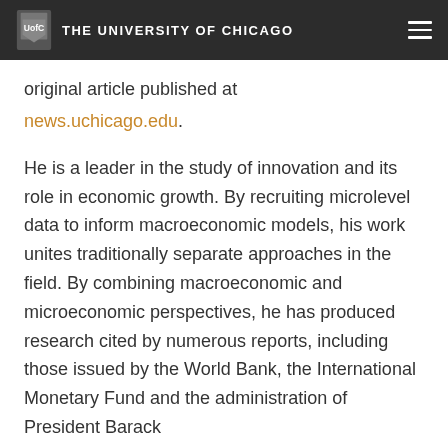THE UNIVERSITY OF CHICAGO
original article published at news.uchicago.edu.
He is a leader in the study of innovation and its role in economic growth. By recruiting microlevel data to inform macroeconomic models, his work unites traditionally separate approaches in the field. By combining macroeconomic and microeconomic perspectives, he has produced research cited by numerous reports, including those issued by the World Bank, the International Monetary Fund and the administration of President Barack